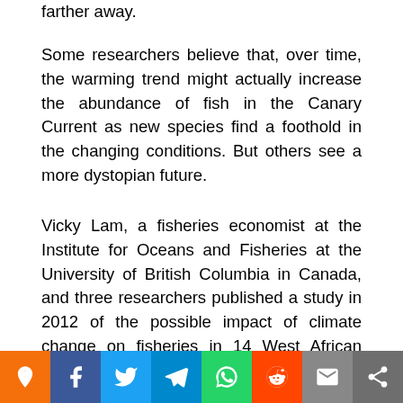farther away.
Some researchers believe that, over time, the warming trend might actually increase the abundance of fish in the Canary Current as new species find a foothold in the changing conditions. But others see a more dystopian future.
Vicky Lam, a fisheries economist at the Institute for Oceans and Fisheries at the University of British Columbia in Canada, and three researchers published a study in 2012 of the possible impact of climate change on fisheries in 14 West African nations, including Mauritania, Senegal and Gambia. Their projections for 2050 were bleak: a 21 percent drop in the annual landed value of catches, a 50 percent decline in fisheries-related jobs and [continues] nal eco[nomy]
[Figure (infographic): Social media share bar with icons for: location pin (orange), Facebook (dark blue), Twitter (light blue), Telegram (teal), WhatsApp (green), Reddit (red-orange), Email (gray), Share (dark gray)]